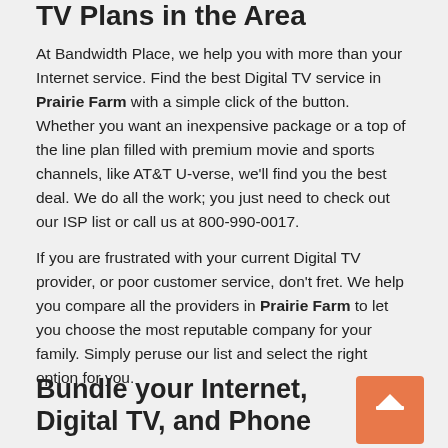TV Plans in the Area
At Bandwidth Place, we help you with more than your Internet service. Find the best Digital TV service in Prairie Farm with a simple click of the button. Whether you want an inexpensive package or a top of the line plan filled with premium movie and sports channels, like AT&T U-verse, we'll find you the best deal. We do all the work; you just need to check out our ISP list or call us at 800-990-0017.
If you are frustrated with your current Digital TV provider, or poor customer service, don't fret. We help you compare all the providers in Prairie Farm to let you choose the most reputable company for your family. Simply peruse our list and select the right option for you.
Bundle your Internet, Digital TV, and Phone Service Savings, Beat Retail